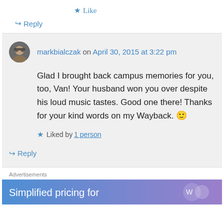★ Like
↪ Reply
markbialczak on April 30, 2015 at 3:22 pm
Glad I brought back campus memories for you, too, Van! Your husband won you over despite his loud music tastes. Good one there! Thanks for your kind words on my Wayback. 🙂
Liked by 1 person
↪ Reply
Advertisements
Simplified pricing for